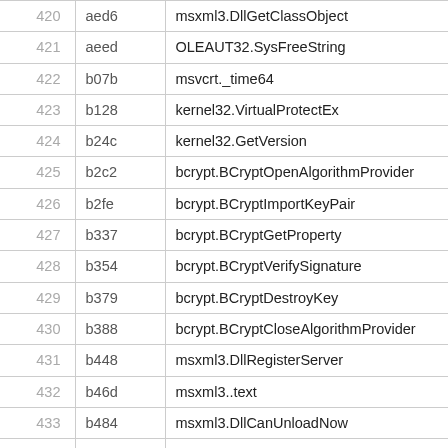| 420 | aed6 | msxml3.DllGetClassObject |
| 421 | aeed | OLEAUT32.SysFreeString |
| 422 | b07b | msvcrt._time64 |
| 423 | b128 | kernel32.VirtualProtectEx |
| 424 | b24c | kernel32.GetVersion |
| 425 | b2c2 | bcrypt.BCryptOpenAlgorithmProvider |
| 426 | b2fe | bcrypt.BCryptImportKeyPair |
| 427 | b337 | bcrypt.BCryptGetProperty |
| 428 | b354 | bcrypt.BCryptVerifySignature |
| 429 | b379 | bcrypt.BCryptDestroyKey |
| 430 | b388 | bcrypt.BCryptCloseAlgorithmProvider |
| 431 | b448 | msxml3.DllRegisterServer |
| 432 | b46d | msxml3..text |
| 433 | b484 | msxml3.DllCanUnloadNow |
| 434 | b4a8 | OLEAUT32.SysFreeString |